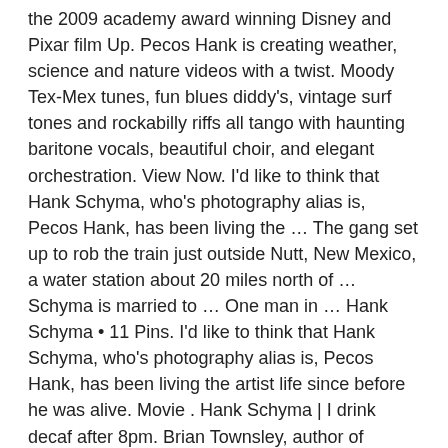the 2009 academy award winning Disney and Pixar film Up. Pecos Hank is creating weather, science and nature videos with a twist. Moody Tex-Mex tunes, fun blues diddy's, vintage surf tones and rockabilly riffs all tango with haunting baritone vocals, beautiful choir, and elegant orchestration. View Now. I'd like to think that Hank Schyma, who's photography alias is, Pecos Hank, has been living the … The gang set up to rob the train just outside Nutt, New Mexico, a water station about 20 miles north of … Schyma is married to … One man in … Hank Schyma • 11 Pins. I'd like to think that Hank Schyma, who's photography alias is, Pecos Hank, has been living the artist life since before he was alive. Movie . Hank Schyma | I drink decaf after 8pm. Brian Townsley, author of House Dick, has published short fiction in Black Mask and Danse Macabre. Hank Schyma. Hank Schyma, a Houston singer-songwriter, storm chaser, photographer and snake enthusiast, named his new album "El Reno Blues." His wife, Gabrielle, is no more. Buy Pecos Hank tickets from the official Ticketmaster.com site. stupid. This guy is possibly a genius. The music "Pillbox" was composed by Pecos Hank Schyma and originally recorded by Southern Backtones and can be purchased online everywhere. Nous voudrions effectuer une description ici mais